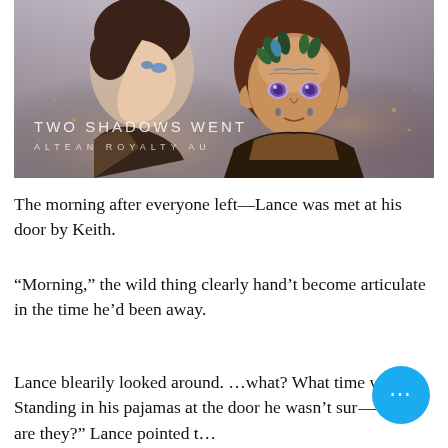[Figure (illustration): Fantasy illustration of two characters — one in profile view with blue face markings, another facing forward with violet eyes, brown hair, blue leaf crown, and face markings. Text overlay reads 'TWO SHADOWS WENT' and 'ALTEAN ROYALTY AU'.]
The morning after everyone left—Lance was met at his door by Keith.
“Morning,” the wild thing clearly hand’t become articulate in the time he’d been away.
Lance blearily looked around. …what? What time was it? Standing in his pajamas at the door he wasn’t sur—“Who are they?” Lance pointed t…